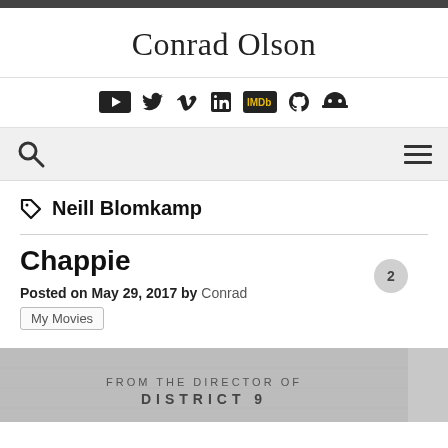Conrad Olson
[Figure (infographic): Social media icons: YouTube, Twitter, Vimeo, LinkedIn, IMDb, GitHub, and one more icon]
[Figure (infographic): Navigation bar with search icon (magnifying glass) on left and hamburger menu icon on right, gray background]
Neill Blomkamp
Chappie
Posted on May 29, 2017 by Conrad
My Movies
[Figure (photo): Movie image with text: FROM THE DIRECTOR OF DISTRICT 9]